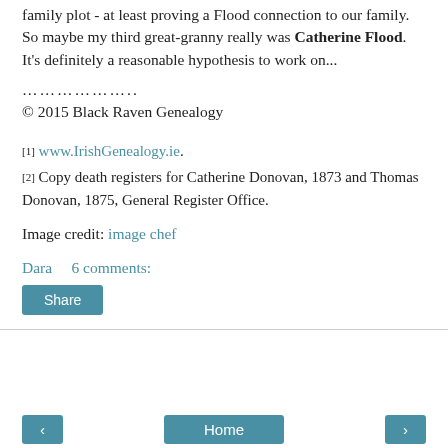family plot - at least proving a Flood connection to our family. So maybe my third great-granny really was Catherine Flood. It's definitely a reasonable hypothesis to work on...
………………..
© 2015 Black Raven Genealogy
[1] www.IrishGenealogy.ie.
[2] Copy death registers for Catherine Donovan, 1873 and Thomas Donovan, 1875, General Register Office.
Image credit: image chef
Dara   6 comments:
Share
Home